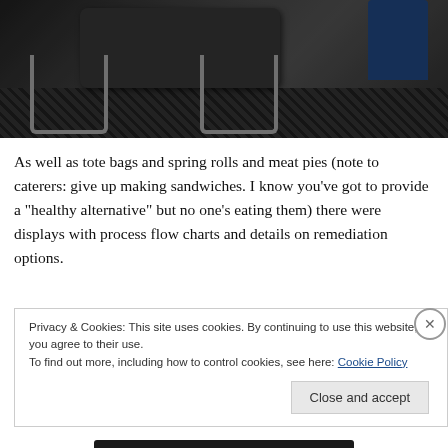[Figure (photo): Photo of a meeting room or cafeteria setting with dark metal chairs around a dark rectangular table, patterned dark carpet, and a person in blue shirt visible in the background.]
As well as tote bags and spring rolls and meat pies (note to caterers: give up making sandwiches. I know you’ve got to provide a “healthy alternative” but no one’s eating them) there were displays with process flow charts and details on remediation options.
Privacy & Cookies: This site uses cookies. By continuing to use this website, you agree to their use.
To find out more, including how to control cookies, see here: Cookie Policy
Close and accept